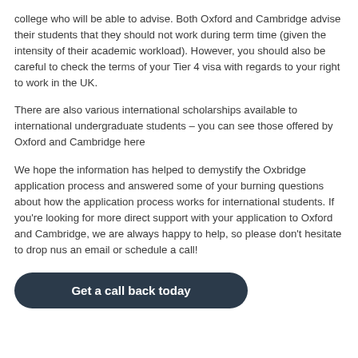college who will be able to advise. Both Oxford and Cambridge advise their students that they should not work during term time (given the intensity of their academic workload). However, you should also be careful to check the terms of your Tier 4 visa with regards to your right to work in the UK.
There are also various international scholarships available to international undergraduate students – you can see those offered by Oxford and Cambridge here
We hope the information has helped to demystify the Oxbridge application process and answered some of your burning questions about how the application process works for international students. If you’re looking for more direct support with your application to Oxford and Cambridge, we are always happy to help, so please don’t hesitate to drop nus an email or schedule a call!
Get a call back today